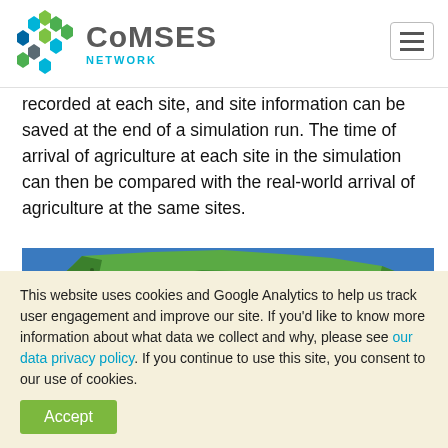CoMSES NETWORK
recorded at each site, and site information can be saved at the end of a simulation run. The time of arrival of agriculture at each site in the simulation can then be compared with the real-world arrival of agriculture at the same sites.
[Figure (map): A colorized map of the Iberian Peninsula showing simulated agricultural spread, with blue ocean background, green vegetation zones, grey/white arid zones, pink/red spread region in the south-east, and yellow dots marking archaeological sites.]
This website uses cookies and Google Analytics to help us track user engagement and improve our site. If you'd like to know more information about what data we collect and why, please see our data privacy policy. If you continue to use this site, you consent to our use of cookies.